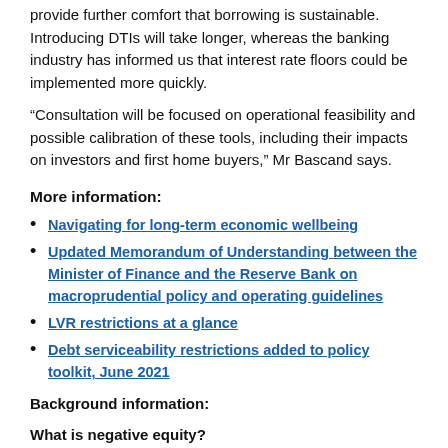provide further comfort that borrowing is sustainable. Introducing DTIs will take longer, whereas the banking industry has informed us that interest rate floors could be implemented more quickly.
“Consultation will be focused on operational feasibility and possible calibration of these tools, including their impacts on investors and first home buyers,” Mr Bascand says.
More information:
Navigating for long-term economic wellbeing
Updated Memorandum of Understanding between the Minister of Finance and the Reserve Bank on macroprudential policy and operating guidelines
LVR restrictions at a glance
Debt serviceability restrictions added to policy toolkit, June 2021
Background information:
What is negative equity?